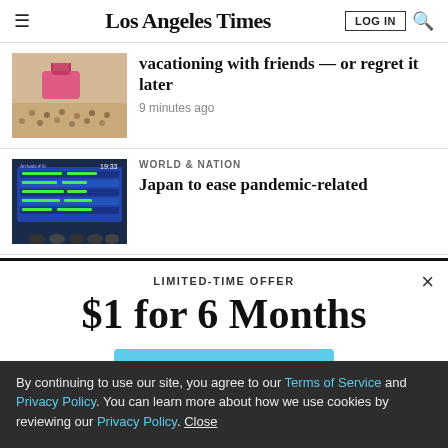Los Angeles Times
[Figure (photo): Beach scene thumbnail with pink bag]
vacationing with friends — or regret it later
9 minutes ago
[Figure (photo): Airport arrivals board thumbnail]
WORLD & NATION
Japan to ease pandemic-related
LIMITED-TIME OFFER
$1 for 6 Months
SUBSCRIBE NOW
By continuing to use our site, you agree to our Terms of Service and Privacy Policy. You can learn more about how we use cookies by reviewing our Privacy Policy. Close